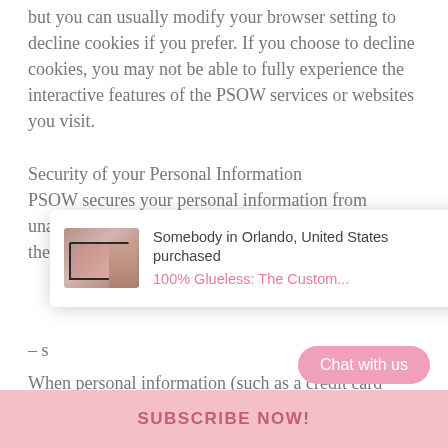but you can usually modify your browser setting to decline cookies if you prefer. If you choose to decline cookies, you may not be able to fully experience the interactive features of the PSOW services or websites you visit.
Security of your Personal Information
PSOW secures your personal information from unauthorized access, use, or disclosure. PSOW uses the
[Figure (screenshot): A popup/toast notification showing a purchase notification: 'Somebody in Orlando, United States purchased 100% Glueless: The Custom...' with a product image on the left and a close (×) button in the top right.]
– s
When personal information (such as a credit card number) is transmitted to other websites, it is protected through the use of encr... as the Secure Sockets Layer (SSL) p...
[Figure (screenshot): A pink 'Chat with us' button in the bottom right corner of the screen.]
SUBSCRIBE NOW!